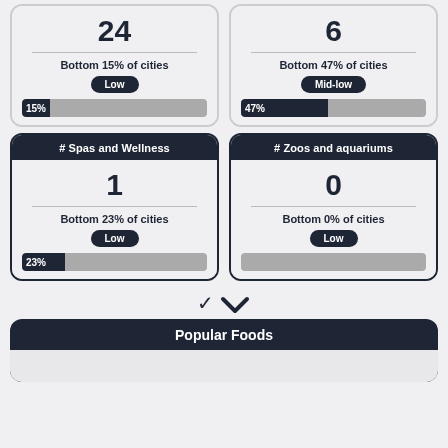[Figure (infographic): Card showing number 24, Bottom 15% of cities, Low badge, 15% progress bar]
[Figure (infographic): Card showing number 6, Bottom 47% of cities, Mid-low badge, 47% progress bar]
[Figure (infographic): Card showing # Spas and Wellness, number 1, Bottom 23% of cities, Low badge, 23% progress bar]
[Figure (infographic): Card showing # Zoos and aquariums, number 0, Bottom 0% of cities, Low badge]
▼
[Figure (infographic): Popular Foods section header with empty content row below]